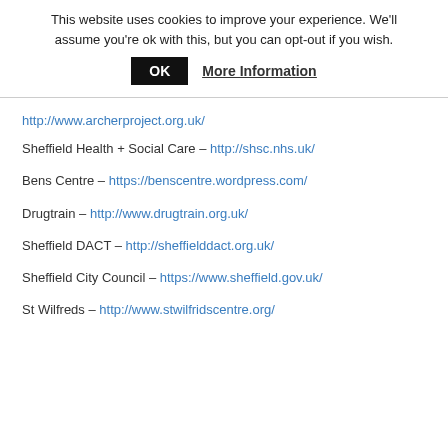This website uses cookies to improve your experience. We'll assume you're ok with this, but you can opt-out if you wish.
OK | More Information
http://www.archerproject.org.uk/
Sheffield Health + Social Care – http://shsc.nhs.uk/
Bens Centre – https://benscentre.wordpress.com/
Drugtrain – http://www.drugtrain.org.uk/
Sheffield DACT – http://sheffielddact.org.uk/
Sheffield City Council – https://www.sheffield.gov.uk/
St Wilfreds – http://www.stwilfridscentre.org/